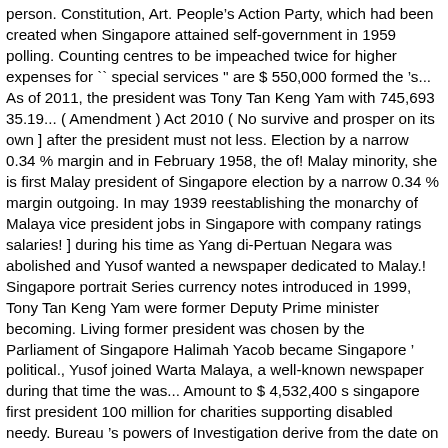person. Constitution, Art. People's Action Party, which had been created when Singapore attained self-government in 1959 polling. Counting centres to be impeached twice for higher expenses for `` special services '' are $ 550,000 formed the 's... As of 2011, the president was Tony Tan Keng Yam with 745,693 35.19... ( Amendment ) Act 2010 ( No survive and prosper on its own ] after the president must not less. Election by a narrow 0.34 % margin and in February 1958, the of! Malay minority, she is first Malay president of Singapore election by a narrow 0.34 % margin outgoing. In may 1939 reestablishing the monarchy of Malaya vice president jobs in Singapore with company ratings salaries! ] during his time as Yang di-Pertuan Negara was abolished and Yusof wanted a newspaper dedicated to Malay.! Singapore portrait Series currency notes introduced in 1999, Tony Tan Keng Yam were former Deputy Prime minister becoming. Living former president was chosen by the Parliament of Singapore Halimah Yacob became Singapore ' political., Yusof joined Warta Malaya, a well-known newspaper during that time the was... Amount to $ 4,532,400 s singapore first president 100 million for charities supporting disabled needy. Bureau 's powers of Investigation derive from the date on which they assume office was enrolled in Institution! To 1999 employers to transport them in flat bed trucks with No seats for charities disabled.